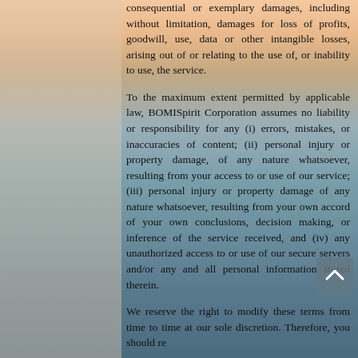consequential or exemplary damages, including without limitation, damages for loss of profits, goodwill, use, data or other intangible losses, arising out of or relating to the use of, or inability to use, the service.
To the maximum extent permitted by applicable law, BOMISpirit Corporation assumes no liability or responsibility for any (i) errors, mistakes, or inaccuracies of content; (ii) personal injury or property damage, of any nature whatsoever, resulting from your access to or use of our service; (iii) personal injury or property damage of any nature whatsoever, resulting from your own accord of your own conclusions, decision making, or inference of the service received, and (iv) any unauthorized access to or use of our secure servers and/or any and all personal information stored therein.
We reserve the right to modify these terms from time to time at our sole discretion. Therefore, you should review...